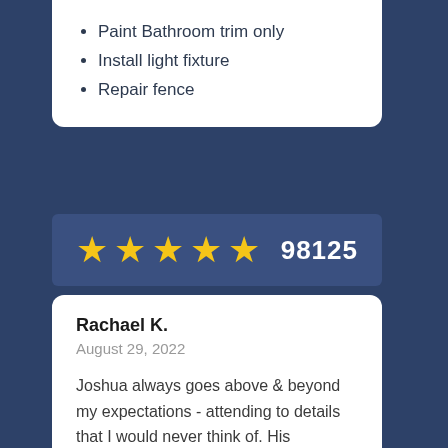Paint Bathroom trim only
Install light fixture
Repair fence
[Figure (other): Five gold stars rating with zip code 98125]
Rachael K.
August 29, 2022

Joshua always goes above & beyond my expectations - attending to details that I would never think of. His expertise is invaluable.